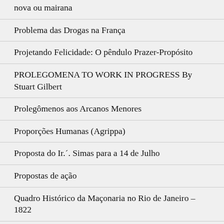nova ou mairana
Problema das Drogas na França
Projetando Felicidade: O pêndulo Prazer-Propósito
PROLEGOMENA TO WORK IN PROGRESS By Stuart Gilbert
Prolegômenos aos Arcanos Menores
Proporções Humanas (Agrippa)
Proposta do Ir.´. Simas para a 14 de Julho
Propostas de ação
Quadro Histórico da Maçonaria no Rio de Janeiro – 1822